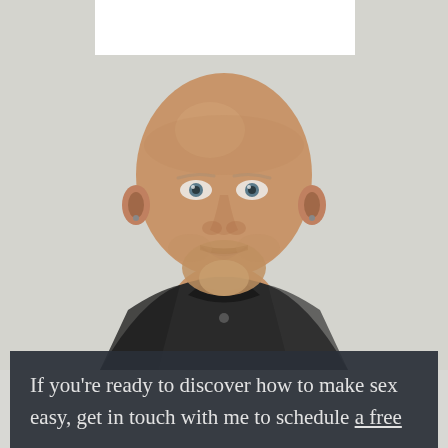[Figure (photo): Portrait of a bald middle-aged man with a short reddish-blond beard, wearing a dark button-up shirt, smiling slightly, photographed against a light gray background. A white rectangle appears at the top center above his head.]
If you're ready to discover how to make sex easy, get in touch with me to schedule a free